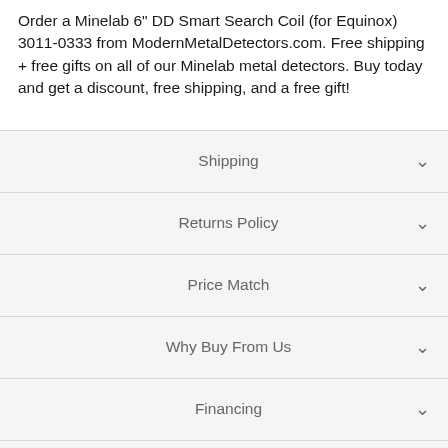Order a Minelab 6" DD Smart Search Coil (for Equinox) 3011-0333 from ModernMetalDetectors.com. Free shipping + free gifts on all of our Minelab metal detectors. Buy today and get a discount, free shipping, and a free gift!
Shipping
Returns Policy
Price Match
Why Buy From Us
Financing
Reviews